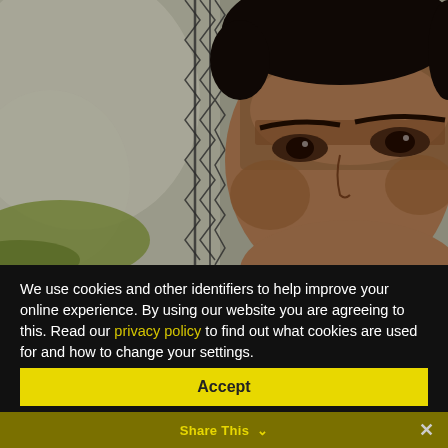[Figure (photo): Close-up photo of a young boy's face, frowning, partially obscured by a chain-link fence. Blurred green/grey background.]
We use cookies and other identifiers to help improve your online experience. By using our website you are agreeing to this. Read our privacy policy to find out what cookies are used for and how to change your settings.
Accept
Share This ∨ ×